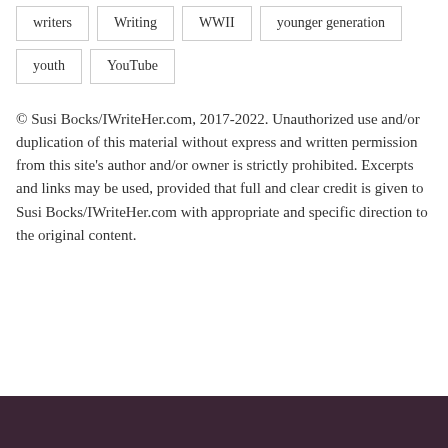writers
Writing
WWII
younger generation
youth
YouTube
© Susi Bocks/IWriteHer.com, 2017-2022. Unauthorized use and/or duplication of this material without express and written permission from this site's author and/or owner is strictly prohibited. Excerpts and links may be used, provided that full and clear credit is given to Susi Bocks/IWriteHer.com with appropriate and specific direction to the original content.